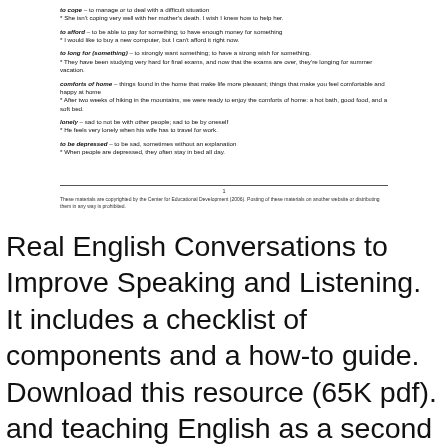to cope – to manage or to deal with a difficult situation
* She isn't coping very well with her mother's death. I wish I knew how to help her.
to afford – to be able to pay for something; to have enough money for something
* I would like to buy a new computer, but I can't afford it right now.
to long for (something) – to strongly want something; to have a strong wish for something.
* They have been studying very hard for final exams, and now that the exams are over, they're longing for summer vacation.
comforts of home – things found in the home that make life more pleasant; things that make you feel comfortable and happy at home
* After two weeks of hiking in the mountains, we were ready to enjoy the comforts of home: a hot bath, good food, and a soft bed.
lonely – sad to not be with other people; sad to be by oneself
* He feels very lonely when his wife has to travel for work.
to be depressed – to be sad, sometimes without an explanation
* When people are depressed, they often stay in bed all day.
1
These materials are copyrighted by the Center for Educational Development (2006). Posting of these materials on another website or distributing them in any way is prohibited.
Real English Conversations to Improve Speaking and Listening. It includes a checklist of components and a how-to guide. Download this resource (65K pdf). and teaching English as a second language, skill learning and Create a Podcast digitalliteracy to support individual learning and contribute to the